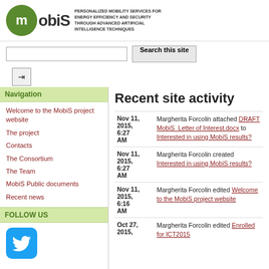[Figure (logo): MobiS project logo with green circle containing 'm' and text 'obiS', with tagline about personalized mobility services]
Search this site
Navigation
Welcome to the MobiS project website
The project
Contacts
The Consortium
The Team
MobiS Public documents
Recent news
FOLLOW US
[Figure (logo): Twitter bird logo icon in blue rounded square]
Recent site activity
Nov 11, 2015, 6:27 AM — Margherita Forcolin attached DRAFT MobiS_Letter of Interest.docx to Interested in using MobiS results?
Nov 11, 2015, 6:27 AM — Margherita Forcolin created Interested in using MobiS results?
Nov 11, 2015, 6:16 AM — Margherita Forcolin edited Welcome to the MobiS project website
Oct 27, 2015 — Margherita Forcolin edited ...